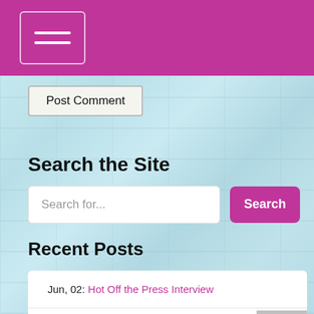Navigation menu (hamburger icon)
Post Comment
Search the Site
Search for...
Recent Posts
Jun, 02: Hot Off the Press Interview
May, 14: Enjoy this Interview with Connie Berry About The Shadow of Memory
Mar, 05: Visit With Me at Jungle Red Writers!